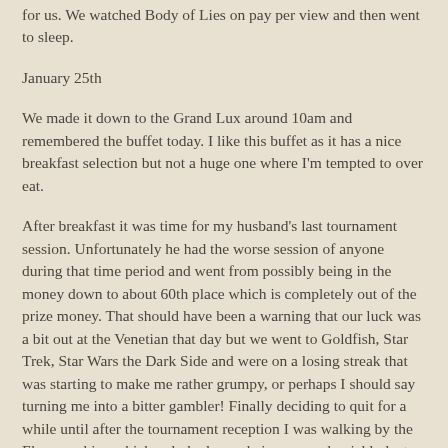for us. We watched Body of Lies on pay per view and then went to sleep.
January 25th
We made it down to the Grand Lux around 10am and remembered the buffet today. I like this buffet as it has a nice breakfast selection but not a huge one where I'm tempted to over eat.
After breakfast it was time for my husband's last tournament session. Unfortunately he had the worse session of anyone during that time period and went from possibly being in the money down to about 60th place which is completely out of the prize money. That should have been a warning that our luck was a bit out at the Venetian that day but we went to Goldfish, Star Trek, Star Wars the Dark Side and were on a losing streak that was starting to make me rather grumpy, or perhaps I should say turning me into a bitter gambler! Finally deciding to quit for a while until after the tournament reception I was walking by the Ebay machine which only had one chair open and quickly lost a $20 in that, however as it